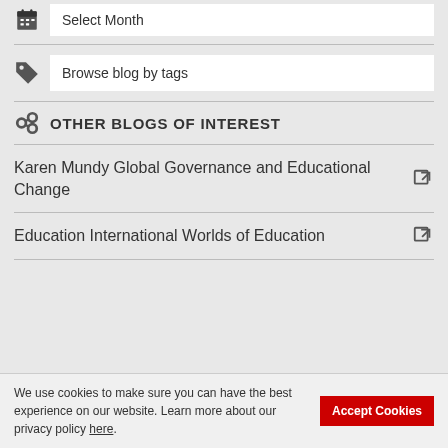Select Month
Browse blog by tags
OTHER BLOGS OF INTEREST
Karen Mundy Global Governance and Educational Change
Education International Worlds of Education
We use cookies to make sure you can have the best experience on our website. Learn more about our privacy policy here.